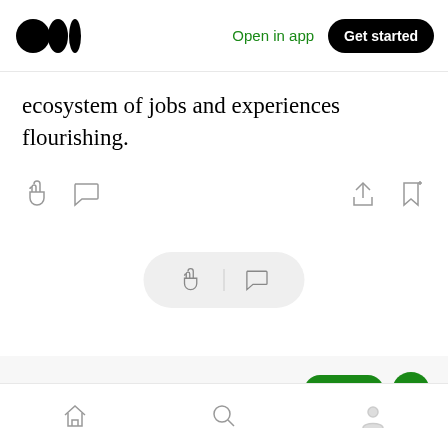Medium logo | Open in app | Get started
ecosystem of jobs and experiences flourishing.
[Figure (screenshot): Action icons row with clap, comment on left, share and bookmark on right]
[Figure (screenshot): Floating pill with clap and comment icons]
More from Private Millionaire Club
Atieh Gostar Computer Software Company (i-dev Software Group) Ltd and registration number 550646 were registered with the Tehran Registrar of Companies …
Bottom navigation bar with home, search, and profile icons